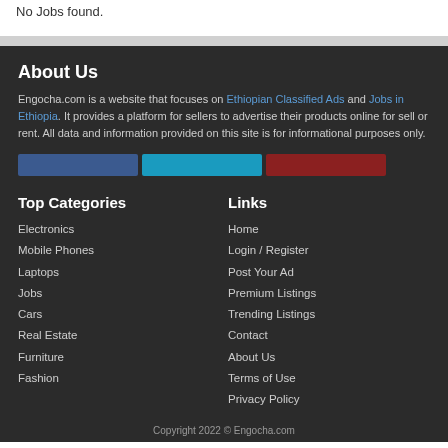No Jobs found.
About Us
Engocha.com is a website that focuses on Ethiopian Classified Ads and Jobs in Ethiopia. It provides a platform for sellers to advertise their products online for sell or rent. All data and information provided on this site is for informational purposes only.
Top Categories
Electronics
Mobile Phones
Laptops
Jobs
Cars
Real Estate
Furniture
Fashion
Links
Home
Login / Register
Post Your Ad
Premium Listings
Trending Listings
Contact
About Us
Terms of Use
Privacy Policy
Copyright 2022 © Engocha.com